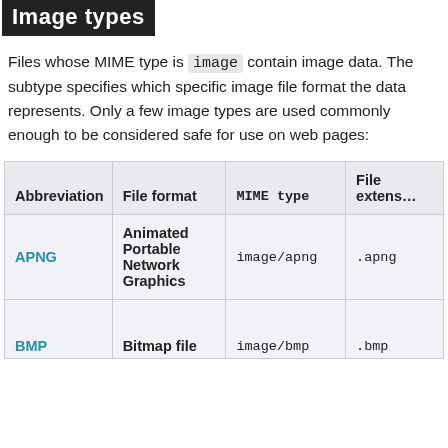Image types
Files whose MIME type is image contain image data. The subtype specifies which specific image file format the data represents. Only a few image types are used commonly enough to be considered safe for use on web pages:
| Abbreviation | File format | MIME type | File extension |
| --- | --- | --- | --- |
| APNG | Animated Portable Network Graphics | image/apng | .apng |
| BMP | Bitmap file | image/bmp | .bmp |